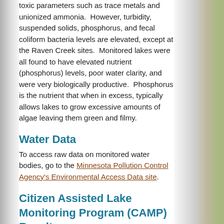toxic parameters such as trace metals and unionized ammonia.  However, turbidity, suspended solids, phosphorus, and fecal coliform bacteria levels are elevated, except at the Raven Creek sites.  Monitored lakes were all found to have elevated nutrient (phosphorus) levels, poor water clarity, and were very biologically productive.  Phosphorus is the nutrient that when in excess, typically allows lakes to grow excessive amounts of algae leaving them green and filmy.
Water Data
To access raw data on monitored water bodies, go to the Minnesota Pollution Control Agency's Environmental Access Data site.
Citizen Assisted Lake Monitoring Program (CAMP) Results
Volunteer monitoring data for lakes in Scott County involved in the Met Council's CAMP